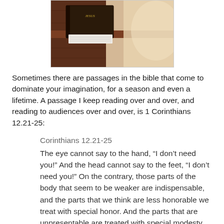[Figure (photo): A Bible resting on a wooden surface with pages open, photographed close-up]
Sometimes there are passages in the bible that come to dominate your imagination, for a season and even a lifetime. A passage I keep reading over and over, and reading to audiences over and over, is 1 Corinthians 12.21-25:
Corinthians 12.21-25
The eye cannot say to the hand, “I don’t need you!” And the head cannot say to the feet, “I don’t need you!” On the contrary, those parts of the body that seem to be weaker are indispensable, and the parts that we think are less honorable we treat with special honor. And the parts that are unpresentable are treated with special modesty, while our presentable parts need no special treatment. But God has put the body together, giving greater honor to the parts that lacked it, so that there should be no division in the body, but that its parts should have equal concern for each